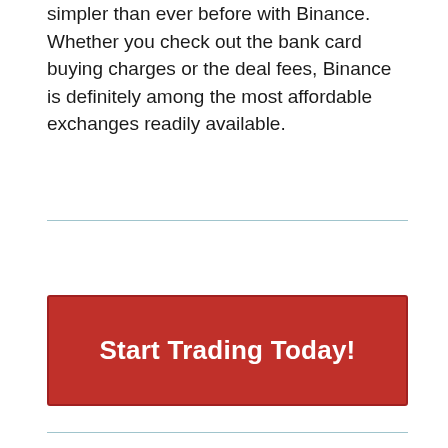simpler than ever before with Binance. Whether you check out the bank card buying charges or the deal fees, Binance is definitely among the most affordable exchanges readily available.
[Figure (other): Red call-to-action button with white bold text reading 'Start Trading Today!']